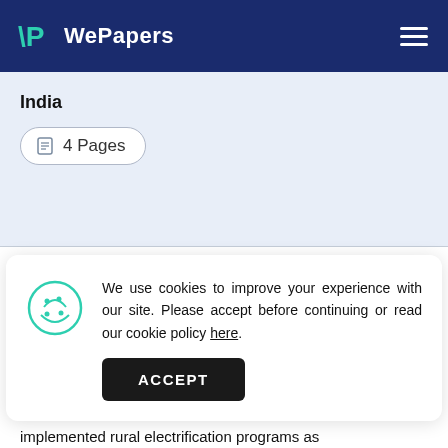WePapers
India
4 Pages
We use cookies to improve your experience with our site. Please accept before continuing or read our cookie policy here.
ACCEPT
energy use programs from as a early as the 1940's. In the early and the late 1950's, India implemented rural electrification programs as well as afforestation programs in order to